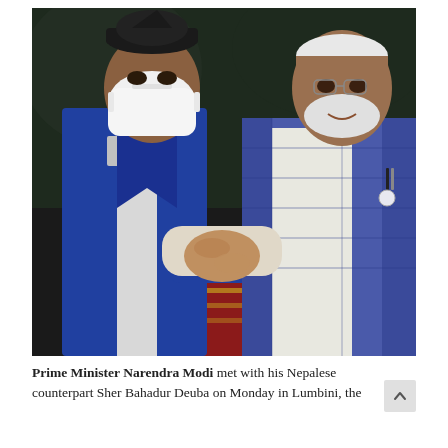[Figure (photo): Two men shaking hands. The man on the left wears a blue suit jacket, traditional Nepali topi (black cap), and a white face mask. The man on the right wears a blue checked sleeveless jacket (Nehru vest) over a white kurta, with white hair and beard, glasses. They are shaking hands in the foreground with a dark background behind them.]
Prime Minister Narendra Modi met with his Nepalese counterpart Sher Bahadur Deuba on Monday in Lumbini, the